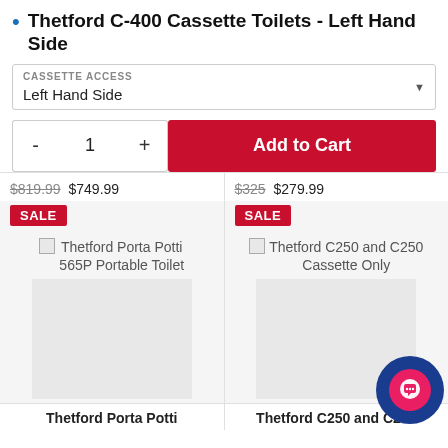Thetford C-400 Cassette Toilets - Left Hand Side
CASSETTE ACCESS
Left Hand Side
- 1 + Add to Cart
$819.99 $749.99
$325 $279.99
SALE
SALE
[Figure (photo): Placeholder image for Thetford Porta Potti 565P Portable Toilet]
[Figure (photo): Placeholder image for Thetford C250 and C250 Cassette Only]
Thetford Porta Potti
Thetford C250 and C250